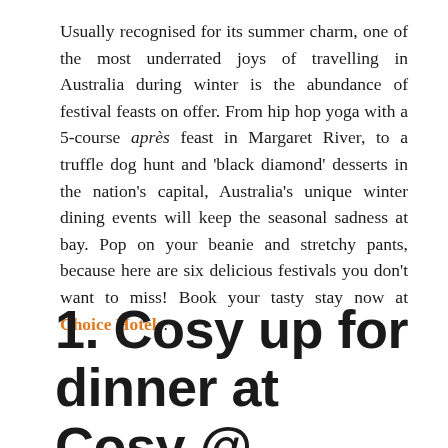Usually recognised for its summer charm, one of the most underrated joys of travelling in Australia during winter is the abundance of festival feasts on offer. From hip hop yoga with a 5-course après feast in Margaret River, to a truffle dog hunt and 'black diamond' desserts in the nation's capital, Australia's unique winter dining events will keep the seasonal sadness at bay. Pop on your beanie and stretchy pants, because here are six delicious festivals you don't want to miss! Book your tasty stay now at Choice Hotels.
1. Cosy up for dinner at Cosy @